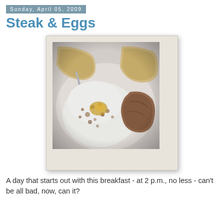Sunday, April 05, 2009
Steak & Eggs
[Figure (photo): A Polaroid-style photo of steak and eggs on a plate, showing a fried egg with brown seasoning speckles and a piece of steak, along with bread, viewed from above.]
A day that starts out with this breakfast - at 2 p.m., no less - can't be all bad, now, can it?